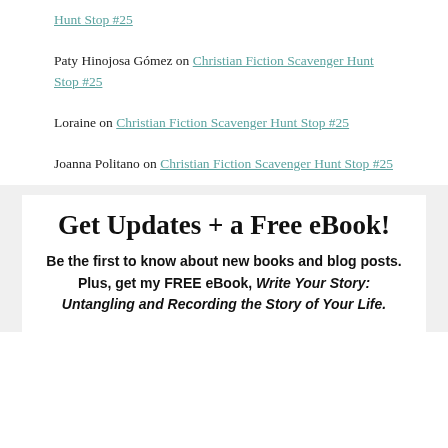Hunt Stop #25
Paty Hinojosa Gómez on Christian Fiction Scavenger Hunt Stop #25
Loraine on Christian Fiction Scavenger Hunt Stop #25
Joanna Politano on Christian Fiction Scavenger Hunt Stop #25
Get Updates + a Free eBook!
Be the first to know about new books and blog posts. Plus, get my FREE eBook, Write Your Story: Untangling and Recording the Story of Your Life.